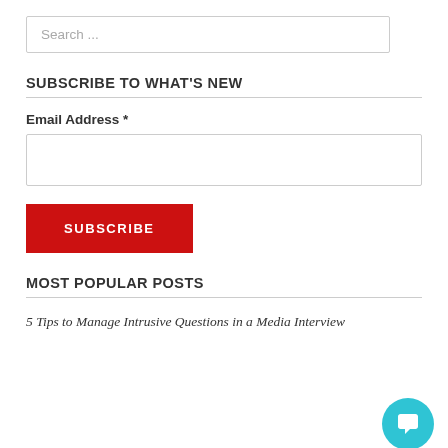Search ...
SUBSCRIBE TO WHAT'S NEW
Email Address *
SUBSCRIBE
MOST POPULAR POSTS
5 Tips to Manage Intrusive Questions in a Media Interview